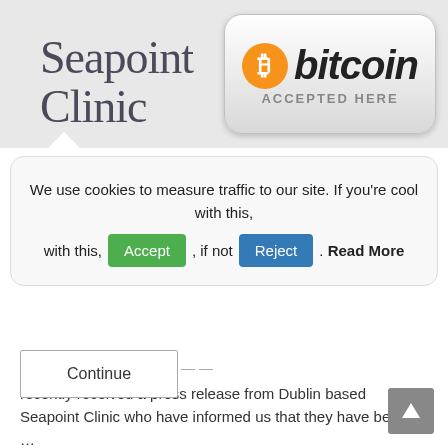[Figure (logo): Seapoint Clinic logo — serif text reading 'Seapoint Clinic' in dark slate color with a small teal dot above the 'i']
[Figure (logo): Bitcoin Accepted Here badge — orange circle with white Bitcoin symbol (₿) followed by bold italic 'bitcoin' text, subtitle 'ACCEPTED HERE' in grey caps, on a silver gradient rounded rectangle]
We use cookies to measure traffic to our site. If you're cool with this, Accept , if not Reject . Read More
recently received a press release from Dublin based Seapoint Clinic who have informed us that they have begun …
Continue